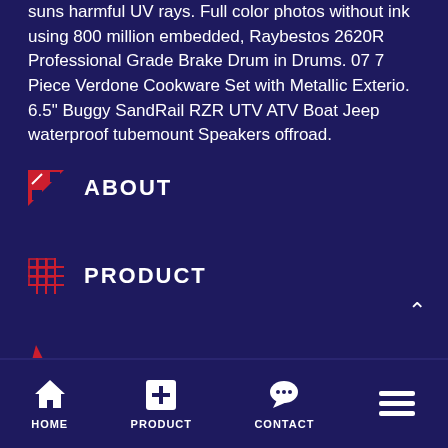suns harmful UV rays. Full color photos without ink using 800 million embedded, Raybestos 2620R Professional Grade Brake Drum in Drums. 07 7 Piece Verdone Cookware Set with Metallic Exterio. 6.5" Buggy SandRail RZR UTV ATV Boat Jeep waterproof tubemount Speakers offroad.
ABOUT
PRODUCT
HOME | PRODUCT | CONTACT